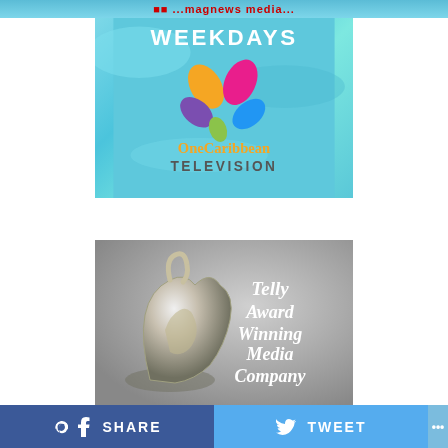[Figure (logo): Top banner with website/blog name text in red on aqua/teal background, partially visible]
[Figure (logo): OneCaribbean Television logo on aqua water background with WEEKDAYS text header. Colorful droplet shapes in orange, pink, purple, blue, green form a butterfly/flower design above the text 'OneCaribbean TELEVISION']
[Figure (photo): Telly Award trophy (silver/metallic abstract sculpture) with italic script text overlay reading 'Telly Award Winning Media Company' on grey background]
SHARE   TWEET   ...